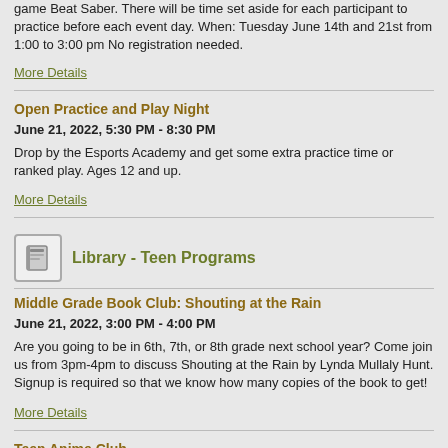game Beat Saber. There will be time set aside for each participant to practice before each event day. When: Tuesday June 14th and 21st from 1:00 to 3:00 pm No registration needed.
More Details
Open Practice and Play Night
June 21, 2022, 5:30 PM - 8:30 PM
Drop by the Esports Academy and get some extra practice time or ranked play. Ages 12 and up.
More Details
Library - Teen Programs
Middle Grade Book Club: Shouting at the Rain
June 21, 2022, 3:00 PM - 4:00 PM
Are you going to be in 6th, 7th, or 8th grade next school year? Come join us from 3pm-4pm to discuss Shouting at the Rain by Lynda Mullaly Hunt. Signup is required so that we know how many copies of the book to get!
More Details
Teen Anime Club
June 21, 2022, 5:30 PM - 7:00 PM
CALLING ALL TEEN ANIME FANS! Do you like anime? Do you like manga? Do you like a variety of snacks? Would you like to be a part of a group who feels the same way as you? Then come attend the